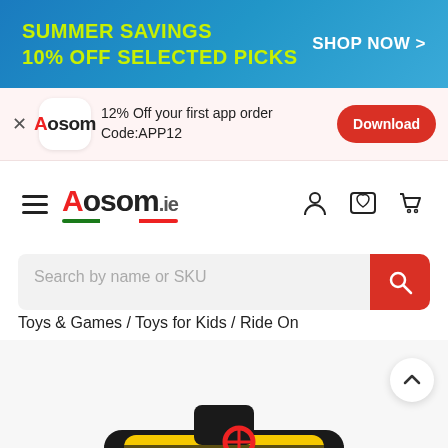[Figure (screenshot): Blue promotional banner with text 'SUMMER SAVINGS 10% OFF SELECTED PICKS' in yellow-green and 'SHOP NOW >' in white on right side]
12% Off your first app order Code:APP12
[Figure (logo): Aosom app logo in white rounded box]
Download
[Figure (logo): Aosom.ie logo with hamburger menu, Irish flag underline, and nav icons]
Search by name or SKU
Toys & Games / Toys for Kids / Ride On
[Figure (photo): Partial product image showing a ride-on toy car (black and yellow with red steering wheel) at bottom of page]